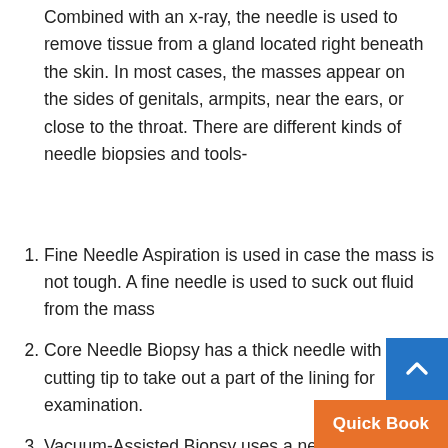Combined with an x-ray, the needle is used to remove tissue from a gland located right beneath the skin. In most cases, the masses appear on the sides of genitals, armpits, near the ears, or close to the throat. There are different kinds of needle biopsies and tools-
Fine Needle Aspiration is used in case the mass is not tough. A fine needle is used to suck out fluid from the mass
Core Needle Biopsy has a thick needle with a cutting tip to take out a part of the lining for examination.
Vacuum-Assisted Biopsy uses a needle with a suction device to a significant amount of fluid from areas that are tough to reach and might need reinsertion.
Image-Guided Biopsy uses x-ray, ultrasound, and MRI, guide the needle through muscles and delica...